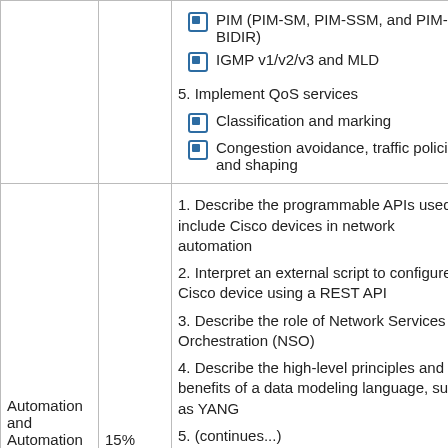| Topic | Weight | Subtopics |
| --- | --- | --- |
|  |  | PIM (PIM-SM, PIM-SSM, and PIM-BIDIR)
IGMP v1/v2/v3 and MLD
5. Implement QoS services
Classification and marking
Congestion avoidance, traffic policing, and shaping |
| Automation and Automation | 15% | 1. Describe the programmable APIs used to include Cisco devices in network automation
2. Interpret an external script to configure a Cisco device using a REST API
3. Describe the role of Network Services Orchestration (NSO)
4. Describe the high-level principles and benefits of a data modeling language, such as YANG
5. (continues...) |